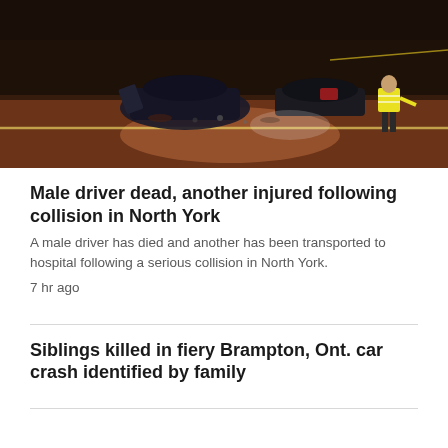[Figure (photo): Nighttime crash scene photo showing two damaged cars on a road with a police officer in a reflective vest standing near the vehicles. Orange-red road surface illuminated by lights, caution tape visible in the background.]
Male driver dead, another injured following collision in North York
A male driver has died and another has been transported to hospital following a serious collision in North York.
7 hr ago
Siblings killed in fiery Brampton, Ont. car crash identified by family